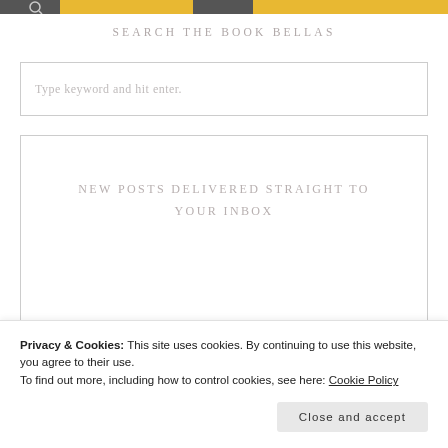[Figure (screenshot): Top banner strips with yellow background and dark icon squares on the left and right sides]
SEARCH THE BOOK BELLAS
Type keyword and hit enter.
NEW POSTS DELIVERED STRAIGHT TO YOUR INBOX
Privacy & Cookies: This site uses cookies. By continuing to use this website, you agree to their use. To find out more, including how to control cookies, see here: Cookie Policy
Close and accept